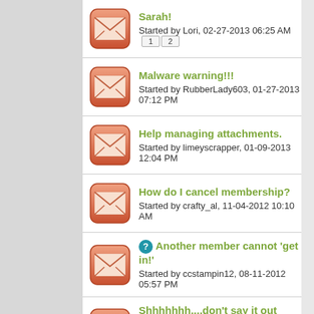Sarah! Started by Lori, 02-27-2013 06:25 AM [1][2]
Malware warning!!! Started by RubberLady603, 01-27-2013 07:12 PM
Help managing attachments. Started by limeyscrapper, 01-09-2013 12:04 PM
How do I cancel membership? Started by crafty_al, 11-04-2012 10:10 AM
Another member cannot 'get in!' Started by ccstampin12, 08-11-2012 05:57 PM
Shhhhhhh....don't say it out loud!!! Started by ccstampin12, 07-09-2012 06:08 PM [1][2]